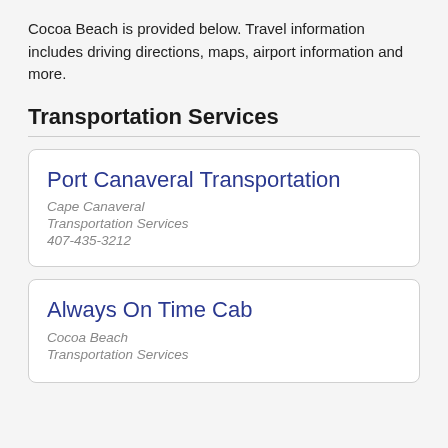Cocoa Beach is provided below. Travel information includes driving directions, maps, airport information and more.
Transportation Services
Port Canaveral Transportation
Cape Canaveral
Transportation Services
407-435-3212
Always On Time Cab
Cocoa Beach
Transportation Services